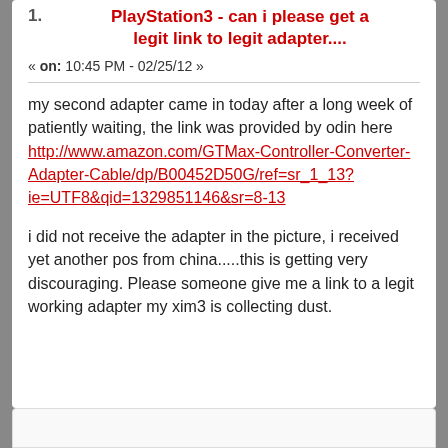PlayStation3 - can i please get a legit link to legit adapter....
« on: 10:45 PM - 02/25/12 »
my second adapter came in today after a long week of patiently waiting, the link was provided by odin here http://www.amazon.com/GTMax-Controller-Converter-Adapter-Cable/dp/B00452D50G/ref=sr_1_13?ie=UTF8&qid=1329851146&sr=8-13
i did not receive the adapter in the picture, i received yet another pos from china.....this is getting very discouraging. Please someone give me a link to a legit working adapter my xim3 is collecting dust.